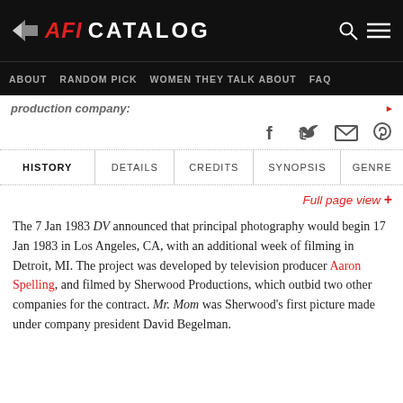AFI CATALOG
ABOUT  RANDOM PICK  WOMEN THEY TALK ABOUT  FAQ
production company:
[Figure (other): Social sharing icons: Facebook, Twitter, Email, Pinterest]
| HISTORY | DETAILS | CREDITS | SYNOPSIS | GENRE |
| --- | --- | --- | --- | --- |
Full page view +
The 7 Jan 1983 DV announced that principal photography would begin 17 Jan 1983 in Los Angeles, CA, with an additional week of filming in Detroit, MI. The project was developed by television producer Aaron Spelling, and filmed by Sherwood Productions, which outbid two other companies for the contract. Mr. Mom was Sherwood's first picture made under company president David Begelman.